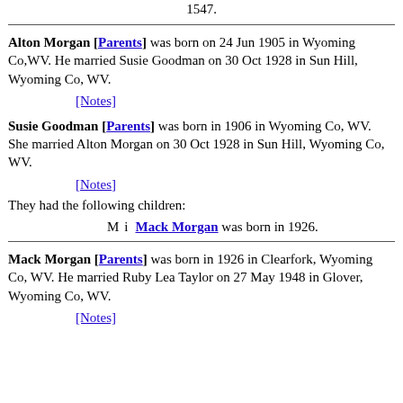1947.
Alton Morgan [Parents] was born on 24 Jun 1905 in Wyoming Co,WV. He married Susie Goodman on 30 Oct 1928 in Sun Hill, Wyoming Co, WV.
[Notes]
Susie Goodman [Parents] was born in 1906 in Wyoming Co, WV. She married Alton Morgan on 30 Oct 1928 in Sun Hill, Wyoming Co, WV.
[Notes]
They had the following children:
M  i  Mack Morgan was born in 1926.
Mack Morgan [Parents] was born in 1926 in Clearfork, Wyoming Co, WV. He married Ruby Lea Taylor on 27 May 1948 in Glover, Wyoming Co, WV.
[Notes]